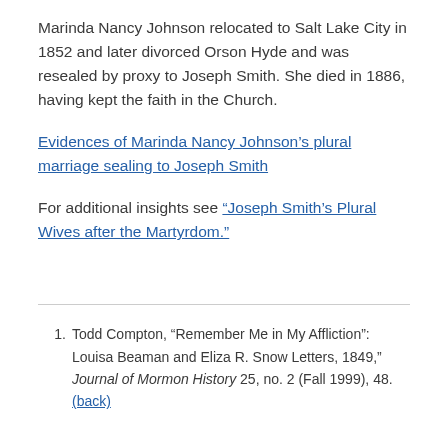Marinda Nancy Johnson relocated to Salt Lake City in 1852 and later divorced Orson Hyde and was resealed by proxy to Joseph Smith. She died in 1886, having kept the faith in the Church.
Evidences of Marinda Nancy Johnson's plural marriage sealing to Joseph Smith
For additional insights see “Joseph Smith’s Plural Wives after the Martyrdom.”
1. Todd Compton, “Remember Me in My Affliction”: Louisa Beaman and Eliza R. Snow Letters, 1849,” Journal of Mormon History 25, no. 2 (Fall 1999), 48. (back)